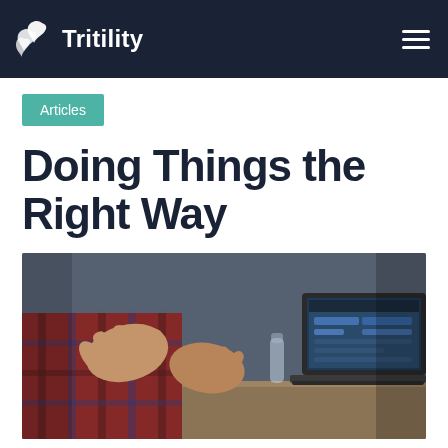Tritility
Articles
Doing Things the Right Way
[Figure (photo): Close-up photo of two people gesturing with hands in a meeting, with an open laptop showing a website or wireframe on the right side of the image. The person on the left is wearing a plaid red and blue shirt.]